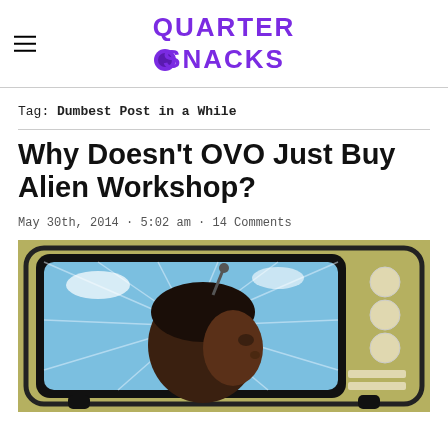QUARTER SNACKS
Tag: Dumbest Post in a While
Why Doesn't OVO Just Buy Alien Workshop?
May 30th, 2014 · 5:02 am · 14 Comments
[Figure (photo): Illustration of a retro television set with a child's profile visible on the screen, blue sky background on screen, olive/tan colored TV casing with circular buttons on right side]